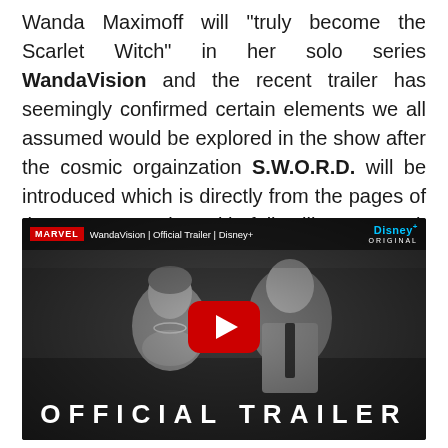Wanda Maximoff will "truly become the Scarlet Witch" in her solo series WandaVision and the recent trailer has seemingly confirmed certain elements we all assumed would be explored in the show after the cosmic orgainzation S.W.O.R.D. will be introduced which is directly from the pages of the X-Men comics with folks like Dr. Hank McCoy aka Beast among the team.
[Figure (screenshot): YouTube thumbnail for WandaVision Official Trailer on Disney+. Black and white image of a woman and a man (Wanda and Vision) sitting together smiling. Red YouTube play button in center. Top bar shows MARVEL logo and title 'WandaVision | Official Trailer | Disney+' with Disney+ Original branding. Bottom text reads 'OFFICIAL TRAILER' in large white letters.]